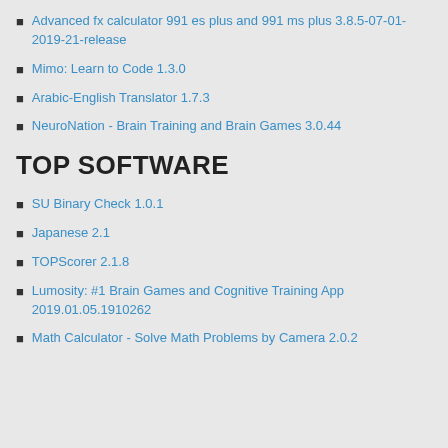Advanced fx calculator 991 es plus and 991 ms plus 3.8.5-07-01-2019-21-release
Mimo: Learn to Code 1.3.0
Arabic-English Translator 1.7.3
NeuroNation - Brain Training and Brain Games 3.0.44
TOP SOFTWARE
SU Binary Check 1.0.1
Japanese 2.1
TOPScorer 2.1.8
Lumosity: #1 Brain Games and Cognitive Training App 2019.01.05.1910262
Math Calculator - Solve Math Problems by Camera 2.0.2